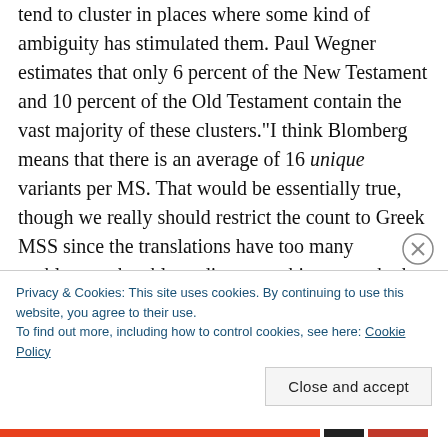tend to cluster in places where some kind of ambiguity has stimulated them. Paul Wegner estimates that only 6 percent of the New Testament and 10 percent of the Old Testament contain the vast majority of these clusters.“I think Blomberg means that there is an average of 16 unique variants per MS. That would be essentially true, though we really should restrict the count to Greek MSS since the translations have too many problems to be able to discern at this stage whether the wording is a true variant from the Greek or simply a looser translation. On
Privacy & Cookies: This site uses cookies. By continuing to use this website, you agree to their use.
To find out more, including how to control cookies, see here: Cookie Policy
Close and accept